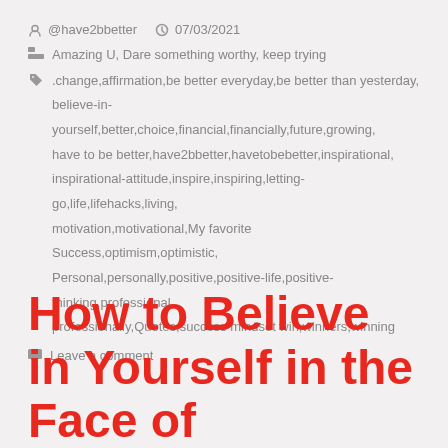@have2bbetter  07/03/2021
Amazing U, Dare something worthy, keep trying
.change,affirmation,be better everyday,be better than yesterday,believe-in-yourself,better,choice,financial,financially,future,growing,have to be better,have2bbetter,havetobebetter,inspirational,inspirational-attitude,inspire,inspiring,letting-go,life,lifehacks,living,motivation,motivational,My favorite Success,optimism,optimistic,Personal,personally,positive,positive-life,positive-thinking,professional,professionally,Quotes,success mindset win,winners,winning
Leave a comment
How to Believe in Yourself in the Face of Overwhelming Self-